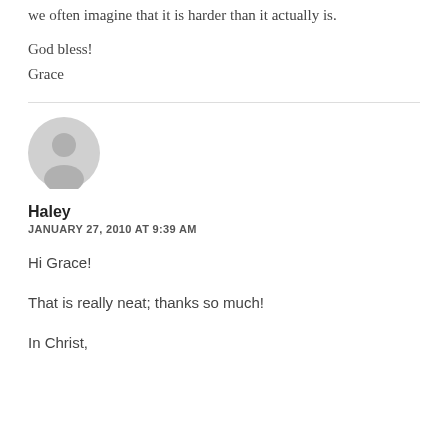...that is one of the hardest parts of minding it. I think we often imagine that it is harder than it actually is.
God bless!
Grace
[Figure (illustration): Generic user avatar icon — grey silhouette of a person on a light grey circular background]
Haley
JANUARY 27, 2010 AT 9:39 AM
Hi Grace!

That is really neat; thanks so much!

In Christ,